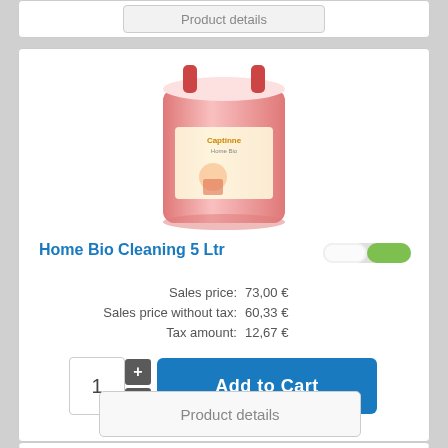[Figure (screenshot): Partial product card showing a 'Product details' button at the top of the page]
[Figure (photo): A 5-liter pink/red liquid cleaning product container with label reading 'Captinne Home Bio Cleaning']
Home Bio Cleaning 5 Ltr
Sales price: 73,00 €
Sales price without tax: 60,33 €
Tax amount: 12,67 €
1
Add to Cart
Product details